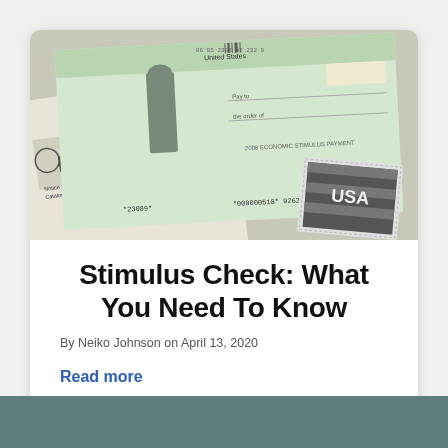[Figure (photo): Photo of IRS documents and a US Treasury economic stimulus payment check alongside a USA postage stamp, viewed from above.]
Stimulus Check: What You Need To Know
By Neiko Johnson on April 13, 2020
Read more